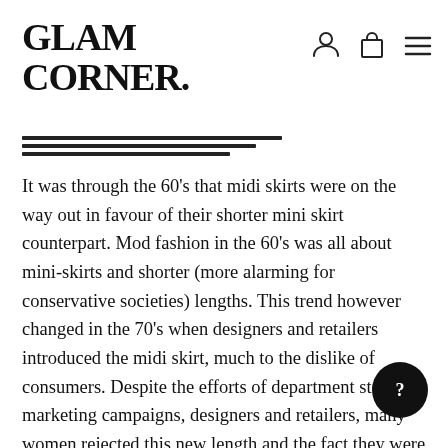GLAM CORNER.
— — — — — — — —
It was through the 60's that midi skirts were on the way out in favour of their shorter mini skirt counterpart. Mod fashion in the 60's was all about mini-skirts and shorter (more alarming for conservative societies) lengths. This trend however changed in the 70's when designers and retailers introduced the midi skirt, much to the dislike of consumers. Despite the efforts of department stores, marketing campaigns, designers and retailers, many women rejected this new length and the fact they were being forced to wear a certain style. Women organised protest groups against the midi skirt and by the 80's, the face of fashion had changed. While trends will alw… prevail, women's fashion was now about personal c… and not specific trends. Women were finally liberated from the constraints of designers and stores – now it was